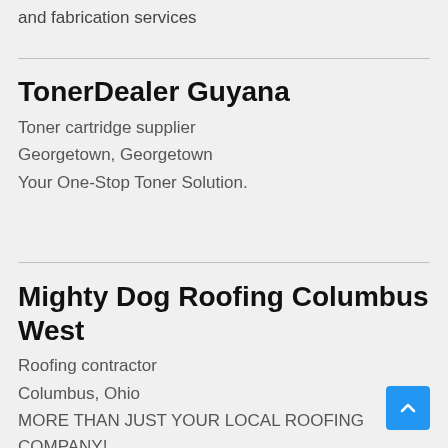and fabrication services
TonerDealer Guyana
Toner cartridge supplier
Georgetown, Georgetown
Your One-Stop Toner Solution.
Mighty Dog Roofing Columbus West
Roofing contractor
Columbus, Ohio
MORE THAN JUST YOUR LOCAL ROOFING COMPANY!